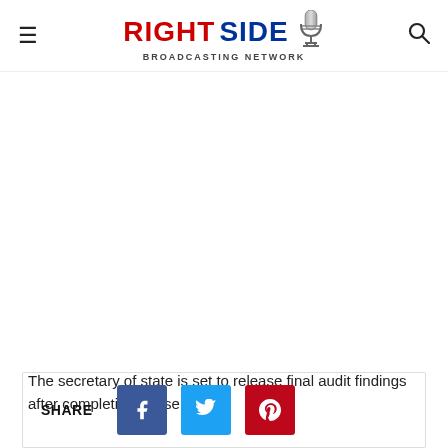RIGHT SIDE BROADCASTING NETWORK
The secretary of state is set to release final audit findings after completing phase two.